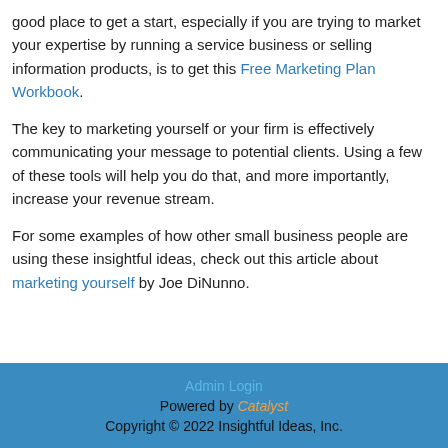good place to get a start, especially if you are trying to market your expertise by running a service business or selling information products, is to get this Free Marketing Plan Workbook.
The key to marketing yourself or your firm is effectively communicating your message to potential clients. Using a few of these tools will help you do that, and more importantly, increase your revenue stream.
For some examples of how other small business people are using these insightful ideas, check out this article about marketing yourself by Joe DiNunno.
Admin Login
Powered by Catalyst
Copyright © 2022 Insightful Ideas, Inc.